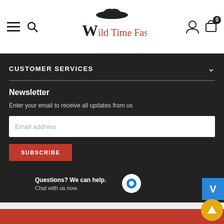Wild Time Fashion
CUSTOMER SERVICES
Newsletter
Enter your email to receive all updates from us
Email address
SUBSCRIBE
We use cookies to offer better online experiences on our website. By using the site, you consent to our use of cookies. Learn more
Questions? We can help. Chat with us now.